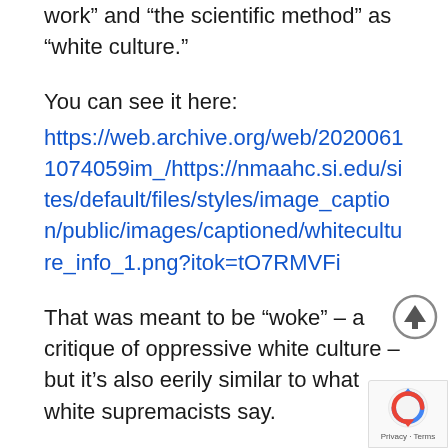work” and “the scientific method” as “white culture.”
You can see it here:
https://web.archive.org/web/20200611074059im_/https://nmaahc.si.edu/sites/default/files/styles/image_caption/public/images/captioned/whiteculture_info_1.png?itok=tO7RMVFi
That was meant to be “woke” – a critique of oppressive white culture – but it’s also eerily similar to what white supremacists say.
“It’s offensive to suggest that black people can’t a… to or can’t possess all of the values that are outli… a document like this.” Foster says.